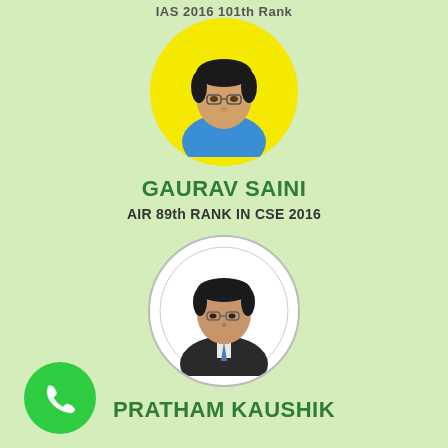IAS 2016 101th Rank
[Figure (photo): Circular photo of Gaurav Saini with yellow background]
GAURAV SAINI
AIR 89th RANK IN CSE 2016
[Figure (photo): Circular photo of Pratham Kaushik with white background]
PRATHAM KAUSHIK
[Figure (illustration): Green phone/call button icon]